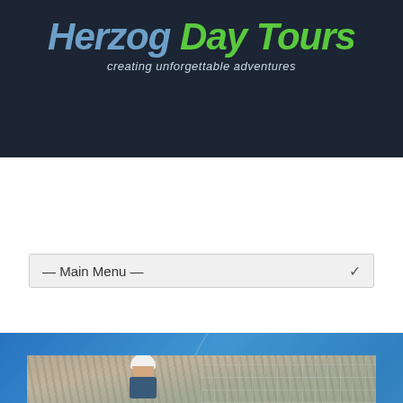[Figure (logo): Herzog Day Tours logo with tagline 'creating unforgettable adventures' on dark navy background]
— Main Menu —
Blog 1 Column
Cum sociis natoque penatibus et magnis dis parturient montes, nascetur ridiculus.
[Figure (photo): Person in white helmet climbing a rock/cliff wall with wire mesh visible, outdoors]